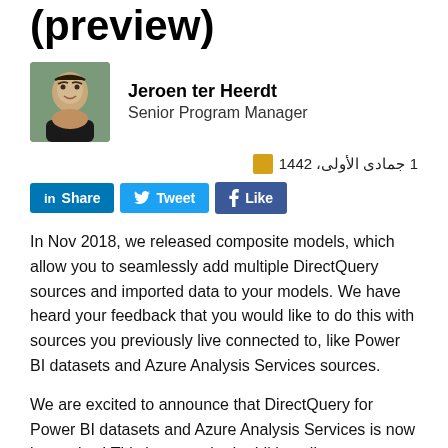(preview)
[Figure (photo): Headshot photo of Jeroen ter Heerdt]
Jeroen ter Heerdt
Senior Program Manager
1 جمادى الأولى، 1442
Share  Tweet  Like
In Nov 2018, we released composite models, which allow you to seamlessly add multiple DirectQuery sources and imported data to your models. We have heard your feedback that you would like to do this with sources you previously live connected to, like Power BI datasets and Azure Analysis Services sources.
We are excited to announce that DirectQuery for Power BI datasets and Azure Analysis Services is now in preview! This long-awaited addition allows report authors to use DirectQuery to connect to Azure Analysis Services or Power